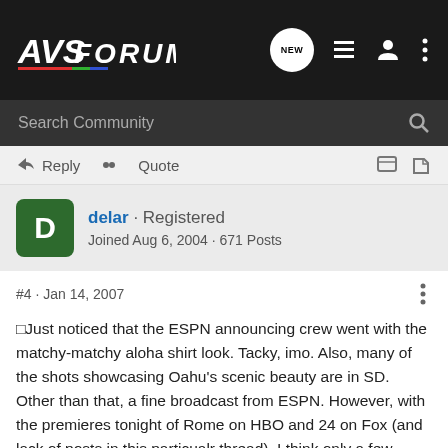AVSForum
Search Community
Reply  Quote
delar · Registered
Joined Aug 6, 2004 · 671 Posts
#4 · Jan 14, 2007
Just noticed that the ESPN announcing crew went with the matchy-matchy aloha shirt look. Tacky, imo. Also, many of the shots showcasing Oahu's scenic beauty are in SD. Other than that, a fine broadcast from ESPN. However, with the premieres tonight of Rome on HBO and 24 on Fox (and lack of posts in this particualr thread), I think only a few people are actually watching this.